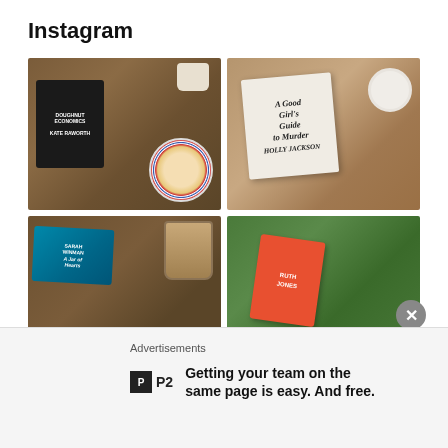Instagram
[Figure (photo): Four Instagram photos showing books with coffee: 1) Kindle showing 'Doughnut Economics' by Kate Raworth with a donut and patterned plate; 2) 'A Good Girl's Guide to Murder' by Holly Jackson with a coffee cup on wood; 3) A teal book by Sarah Winman 'A Jar of Hearts' with a blue mug; 4) A red book by Ruth Jones on grass with daisies]
Advertisements
[Figure (logo): P2 logo - small black square with letter P inside, followed by P2 text]
Getting your team on the same page is easy. And free.